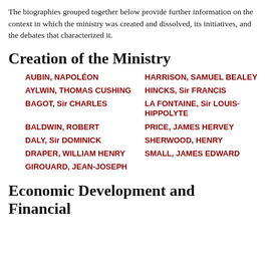The biographies grouped together below provide further information on the context in which the ministry was created and dissolved, its initiatives, and the debates that characterized it.
Creation of the Ministry
AUBIN, NAPOLÉON
HARRISON, SAMUEL BEALEY
AYLWIN, THOMAS CUSHING
HINCKS, Sir FRANCIS
BAGOT, Sir CHARLES
LA FONTAINE, Sir LOUIS-HIPPOLYTE
BALDWIN, ROBERT
PRICE, JAMES HERVEY
DALY, Sir DOMINICK
SHERWOOD, HENRY
DRAPER, WILLIAM HENRY
SMALL, JAMES EDWARD
GIROUARD, JEAN-JOSEPH
Economic Development and Financial